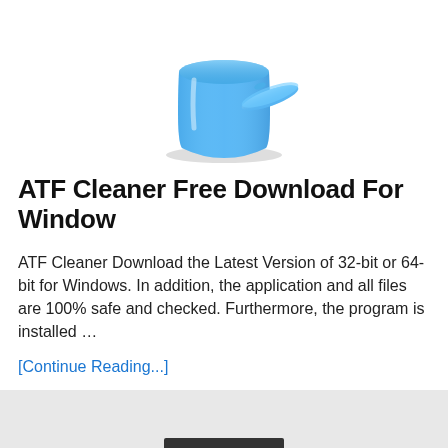[Figure (illustration): Blue trash can / recycle bin icon with lid placed beside it, shown in a 3D style with light blue color and shadow.]
ATF Cleaner Free Download For Window
ATF Cleaner Download the Latest Version of 32-bit or 64-bit for Windows. In addition, the application and all files are 100% safe and checked. Furthermore, the program is installed …
[Continue Reading...]
‹Previous  1  2  3  Next ›